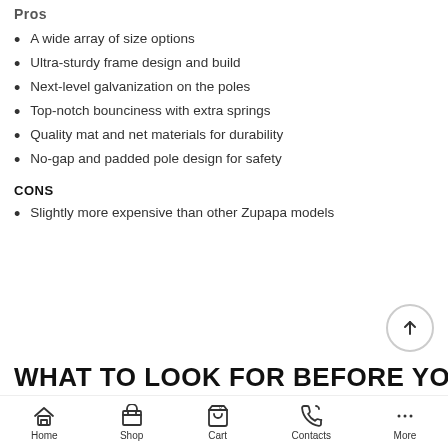PROS
A wide array of size options
Ultra-sturdy frame design and build
Next-level galvanization on the poles
Top-notch bounciness with extra springs
Quality mat and net materials for durability
No-gap and padded pole design for safety
CONS
Slightly more expensive than other Zupapa models
WHAT TO LOOK FOR BEFORE YOU BUY A
Home  Shop  Cart  Contacts  More